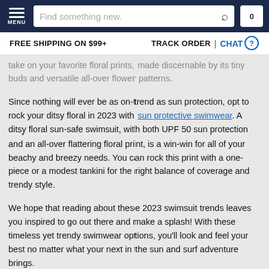MENU | Find something new. | 0
FREE SHIPPING ON $99+ | TRACK ORDER | CHAT
take on your favorite floral prints, made discernable by its tiny buds and versatile all-over flower patterns.
Since nothing will ever be as on-trend as sun protection, opt to rock your ditsy floral in 2023 with sun protective swimwear. A ditsy floral sun-safe swimsuit, with both UPF 50 sun protection and an all-over flattering floral print, is a win-win for all of your beachy and breezy needs. You can rock this print with a one-piece or a modest tankini for the right balance of coverage and trendy style.
We hope that reading about these 2023 swimsuit trends leaves you inspired to go out there and make a splash! With these timeless yet trendy swimwear options, you’ll look and feel your best no matter what your next in the sun and surf adventure brings.